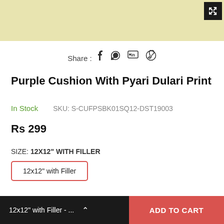[Figure (photo): Product image area with beige/cream background, expand button in top right corner]
Share :  f  p  in  (whatsapp icon)
Purple Cushion With Pyari Dulari Print
In Stock      SKU: S-CUFPSBK01SQ12-DST19003
Rs 299
SIZE: 12X12" WITH FILLER
12x12" with Filler
12x12" with Filler - ...    ADD TO CART